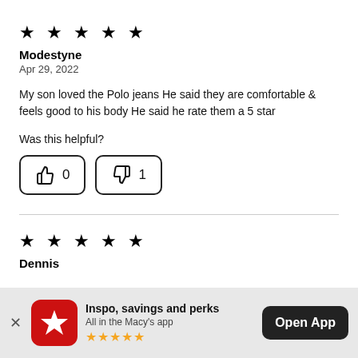[Figure (other): 5 black star rating icons]
Modestyne
Apr 29, 2022
My son loved the Polo jeans He said they are comfortable & feels good to his body He said he rate them a 5 star
Was this helpful?
[Figure (other): Thumbs up button with count 0 and thumbs down button with count 1]
[Figure (other): 5 black star rating icons (second review)]
Dennis
[Figure (other): App banner: Macy's app promotion with red star icon, text 'Inspo, savings and perks / All in the Macy's app', 5 gold stars, and Open App button]